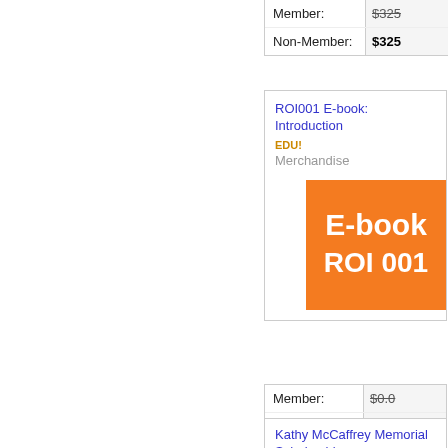|  | Price |
| --- | --- |
| Member: | $325 |
| Non-Member: | $325 |
ROI001 E-book: Introduction
EDU!
Merchandise
[Figure (illustration): Orange E-book ROI 001 cover image]
|  | Price |
| --- | --- |
| Member: | $0.0 |
| Non-Member: | $0.0 |
Kathy McCaffrey Memorial Scholarship